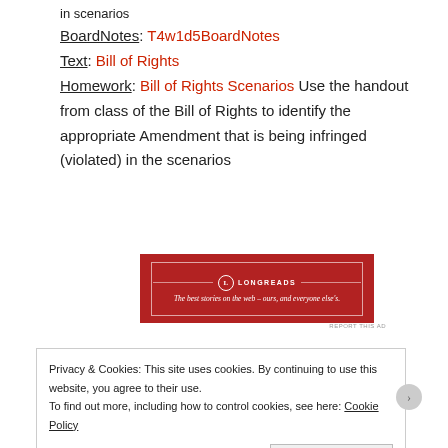in scenarios
BoardNotes: T4w1d5BoardNotes
Text: Bill of Rights
Homework: Bill of Rights Scenarios Use the handout from class of the Bill of Rights to identify the appropriate Amendment that is being infringed (violated) in the scenarios
[Figure (other): Longreads advertisement banner: red background with Longreads logo and tagline 'The best stories on the web – ours, and everyone else's.']
REPORT THIS AD
Privacy & Cookies: This site uses cookies. By continuing to use this website, you agree to their use.
To find out more, including how to control cookies, see here: Cookie Policy
Close and accept